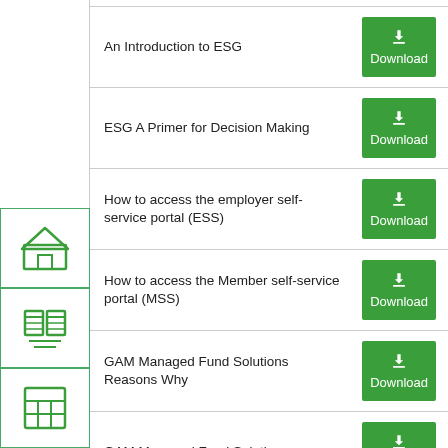| Document | Action |
| --- | --- |
| An Introduction to ESG | Download |
| ESG A Primer for Decision Making | Download |
| How to access the employer self-service portal (ESS) | Download |
| How to access the Member self-service portal (MSS) | Download |
| GAM Managed Fund Solutions Reasons Why | Download |
| GAM Managed Fund Solutions | Download |
| Cautious KIID | Download |